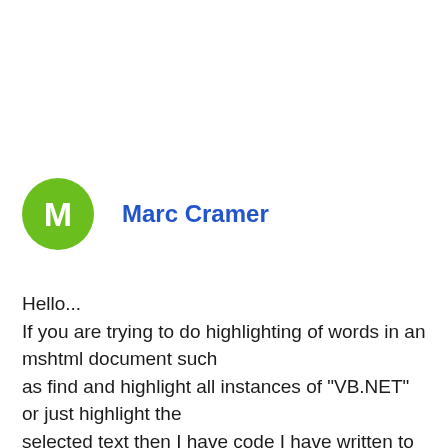[Figure (other): Green circular avatar with white letter M representing user Marc Cramer]
Marc Cramer
Hello... If you are trying to do highlighting of words in an mshtml document such as find and highlight all instances of "VB.NET" or just highlight the selected text then I have code I have written to do this, along with the ability to remove all the current highlights. Asking because